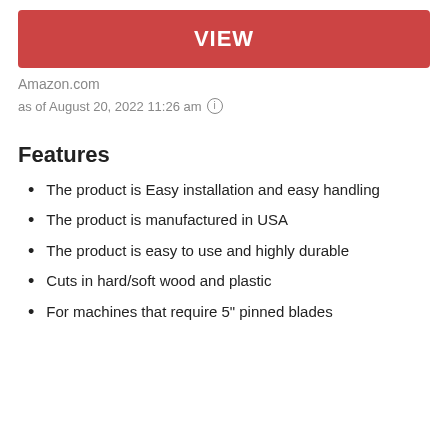[Figure (other): Red button with white text 'VIEW']
Amazon.com
as of August 20, 2022 11:26 am ℹ
Features
The product is Easy installation and easy handling
The product is manufactured in USA
The product is easy to use and highly durable
Cuts in hard/soft wood and plastic
For machines that require 5" pinned blades